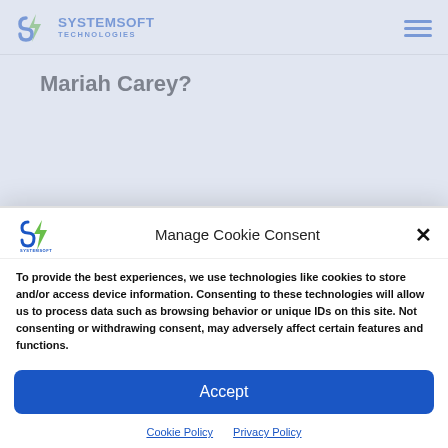SYSTEMSOFT TECHNOLOGIES
Mariah Carey?
[Figure (screenshot): Cookie consent modal overlay for SystemSoft Technologies website]
Manage Cookie Consent
To provide the best experiences, we use technologies like cookies to store and/or access device information. Consenting to these technologies will allow us to process data such as browsing behavior or unique IDs on this site. Not consenting or withdrawing consent, may adversely affect certain features and functions.
Accept
Cookie Policy   Privacy Policy